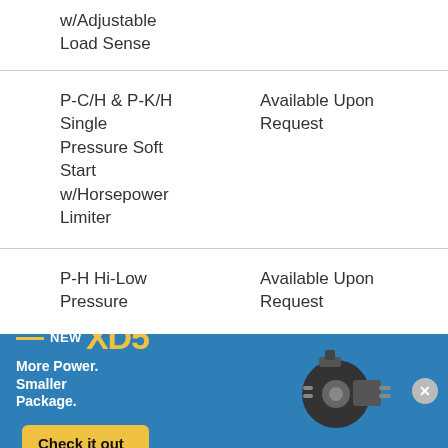| Product | Availability |
| --- | --- |
| w/Adjustable Load Sense |  |
| P-C/H & P-K/H Single Pressure Soft Start w/Horsepower Limiter | Available Upon Request |
| P-H Hi-Low Pressure | Available Upon Request |
[Figure (infographic): Advertisement banner for 'NEW XD5' product. Blue background. Yellow accent lines next to 'NEW' text and large yellow 'XD5' text. Tagline: 'More Power. Smaller Package.' Yellow 'Check it out' button. Image of a hydraulic pump/motor unit on the right. Close button (X) on far right.]